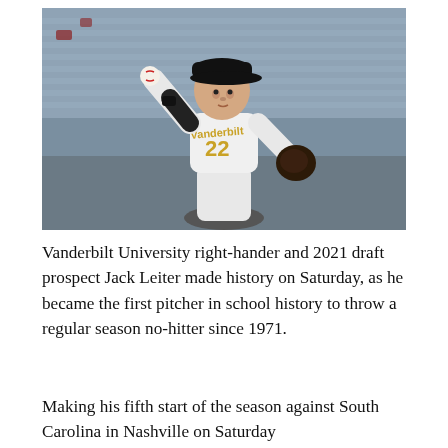[Figure (photo): A Vanderbilt University baseball pitcher wearing jersey number 22 in mid-wind-up on the mound, with stadium seating visible in the background.]
Vanderbilt University right-hander and 2021 draft prospect Jack Leiter made history on Saturday, as he became the first pitcher in school history to throw a regular season no-hitter since 1971.
Making his fifth start of the season against South Carolina in Nashville on Saturday